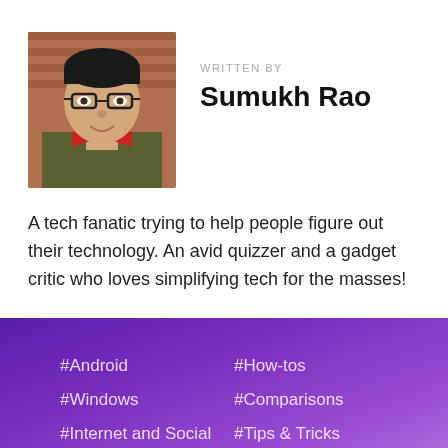[Figure (photo): Headshot photo of a young man wearing glasses, with a red collar shirt visible, against a brick wall background.]
WRITTEN BY
Sumukh Rao
A tech fanatic trying to help people figure out their technology. An avid quizzer and a gadget critic who loves simplifying tech for the masses!
#Android
#How-tos
#Windows
#Comparisons
#Internet and Social
#Tips & Tricks
#iOS
#Gadgets